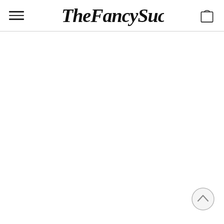TheFancySuccess
[Figure (logo): TheFancySuccess website header with hamburger menu icon on the left, cursive script logo 'TheFancySuccess' in the center, and a shopping bag icon on the right. A horizontal divider line separates the header from the content area below. A back-to-top circular button with an upward chevron appears at the bottom right.]